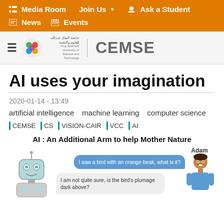Media Room   Join Us   Ask a Student   News   Events
[Figure (logo): KAUST CEMSE logo with hamburger menu, colorful emblem, divider, and CEMSE text]
AI uses your imagination
2020-01-14 - 13:49
artificial intelligence   machine learning   computer science
CEMSE   CS   VISION-CAIR   VCC   AI
AI : An Additional Arm to help Mother Nature
[Figure (illustration): Chat illustration with a robot on the left, a person named Adam on the right, and two chat bubbles: 'I saw a bird with an orange beak, what is it?' and 'I am not quite sure, is the bird's plumage dark above?']